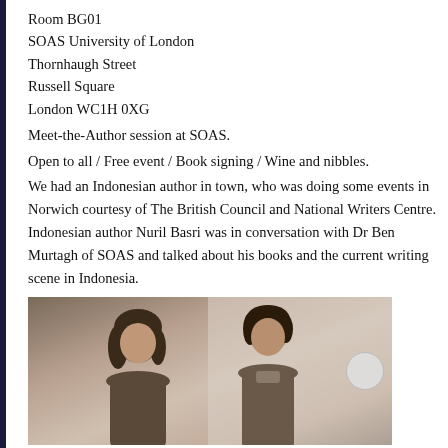Room BG01
SOAS University of London
Thornhaugh Street
Russell Square
London WC1H 0XG
Meet-the-Author session at SOAS.
Open to all / Free event / Book signing / Wine and nibbles.
We had an Indonesian author in town, who was doing some events in Norwich courtesy of The British Council and National Writers Centre. Indonesian author Nuril Basri was in conversation with Dr Ben Murtagh of SOAS and talked about his books and the current writing scene in Indonesia.
[Figure (photo): Two people photographed together, likely Nuril Basri and Dr Ben Murtagh]